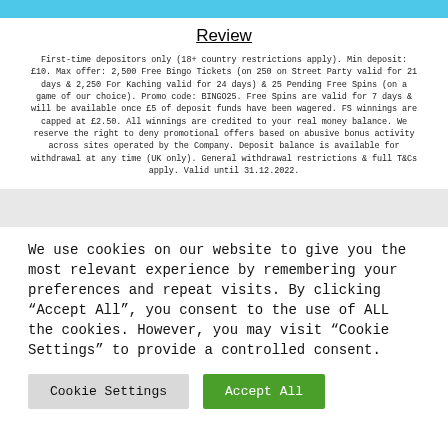Review
First-time depositors only (18+ country restrictions apply). Min deposit: £10. Max offer: 2,500 Free Bingo Tickets (on 250 on Street Party valid for 21 days & 2,250 For Kaching valid for 24 days) & 25 Pending Free Spins (on a game of our choice). Promo code: BINGO25. Free Spins are valid for 7 days & will be available once £5 of deposit funds have been wagered. FS winnings are capped at £2.50. All winnings are credited to your real money balance. We reserve the right to deny promotional offers based on abusive bonus activity across sites operated by the Company. Deposit balance is available for withdrawal at any time (UK only). General withdrawal restrictions & full T&Cs apply. Valid until 31.12.2022.
We use cookies on our website to give you the most relevant experience by remembering your preferences and repeat visits. By clicking "Accept All", you consent to the use of ALL the cookies. However, you may visit "Cookie Settings" to provide a controlled consent.
Cookie Settings
Accept All